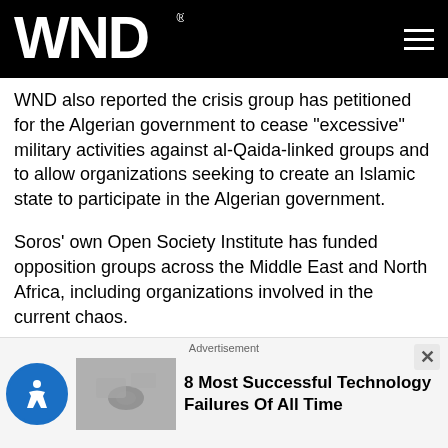WND
WND also reported the crisis group has petitioned for the Algerian government to cease "excessive" military activities against al-Qaida-linked groups and to allow organizations seeking to create an Islamic state to participate in the Algerian government.
Soros' own Open Society Institute has funded opposition groups across the Middle East and North Africa, including organizations involved in the current chaos.
'One World Order'
Advertisement
8 Most Successful Technology Failures Of All Time